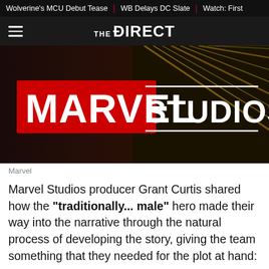Wolverine's MCU Debut Tease | WB Delays DC Slate | Watch: First
THE DIRECT
[Figure (photo): Marvel Studios logo on a dark cinematic background with colorful light streaks]
Marvel
Marvel Studios producer Grant Curtis shared how the "traditionally... male" hero made their way into the narrative through the natural process of developing the story, giving the team something that they needed for the plot at hand: